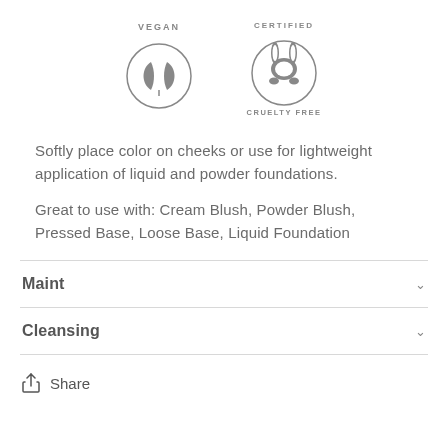[Figure (logo): Two certification badges side by side: a 'VEGAN' badge with a circle containing two leaf icons, and a 'CERTIFIED CRUELTY FREE' badge with a circle containing a rabbit head icon.]
Softly place color on cheeks or use for lightweight application of liquid and powder foundations.
Great to use with: Cream Blush, Powder Blush, Pressed Base, Loose Base, Liquid Foundation
Maint
Cleansing
Share